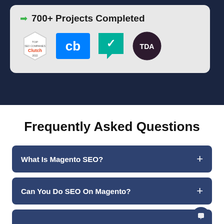700+ Projects Completed
[Figure (logo): Clutch top SEO companies badge (hexagon shape, white background, 'Clutch' text center)]
[Figure (logo): Crunchbase logo - blue square with 'cb' in white]
[Figure (logo): Clutch/Yelp style logo - teal/green checkmark shape]
[Figure (logo): TDA logo - dark circle with TDA text in white]
Frequently Asked Questions
What Is Magento SEO?
Can You Do SEO On Magento?